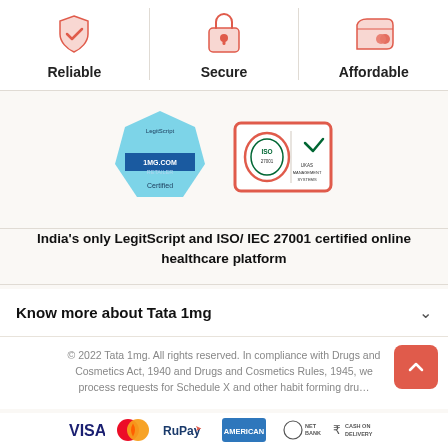[Figure (infographic): Three-column trust badges: Reliable (shield with checkmark icon), Secure (padlock icon), Affordable (wallet icon)]
[Figure (infographic): LegitScript certified badge (blue hexagon) and ISO/IEC 27001 certification badge (red bordered rectangle with logos)]
India's only LegitScript and ISO/ IEC 27001 certified online healthcare platform
Know more about Tata 1mg
© 2022 Tata 1mg. All rights reserved. In compliance with Drugs and Cosmetics Act, 1940 and Drugs and Cosmetics Rules, 1945, we process requests for Schedule X and other habit forming dru…
[Figure (infographic): Payment method icons: VISA, Mastercard, RuPay, American Express, Net Banking, Cash on Delivery]